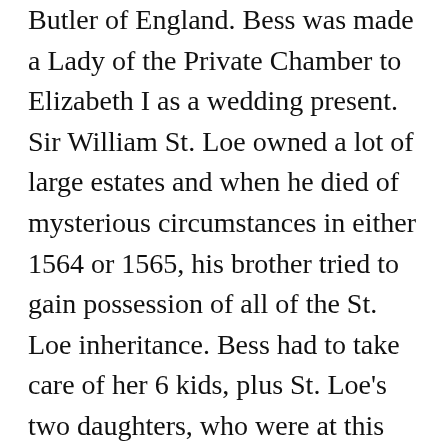Butler of England. Bess was made a Lady of the Private Chamber to Elizabeth I as a wedding present. Sir William St. Loe owned a lot of large estates and when he died of mysterious circumstances in either 1564 or 1565, his brother tried to gain possession of all of the St. Loe inheritance. Bess had to take care of her 6 kids, plus St. Loe's two daughters, who were at this point grown women, so she took her case to court and won. Bess became the second wealthiest woman in England after Elizabeth I with the possession of the St. Loe inheritance.

Bess did not remarry until 1568 to her last husband George Talbot, 6th Earl of...